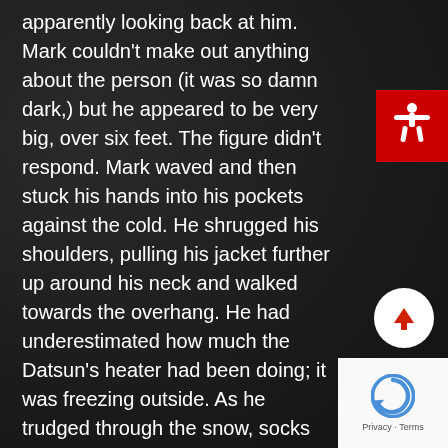apparently looking back at him. Mark couldn't make out anything about the person (it was so damn dark,) but he appeared to be very big, over six feet. The figure didn't respond. Mark waved and then stuck his hands into his pockets against the cold. He shrugged his shoulders, pulling his jacket further up around his neck and walked towards the overhang. He had underestimated how much the Datsun's heater had been doing; it was freezing outside. As he trudged through the snow, socks getting wet through his sneakers, he called out again to the stranger. “Hi, are you closing up?” Still no response.
[Figure (illustration): Red square accessibility button with white human figure icon (arms outstretched)]
[Figure (illustration): White circular scroll-up button with red upward arrow]
[Figure (illustration): reCAPTCHA logo area with privacy and terms text]